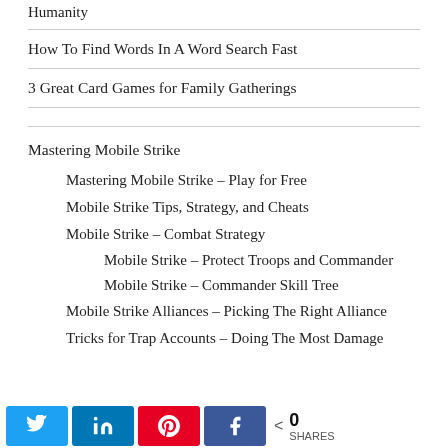Humanity
How To Find Words In A Word Search Fast
3 Great Card Games for Family Gatherings
Mastering Mobile Strike
Mastering Mobile Strike – Play for Free
Mobile Strike Tips, Strategy, and Cheats
Mobile Strike – Combat Strategy
Mobile Strike – Protect Troops and Commander
Mobile Strike – Commander Skill Tree
Mobile Strike Alliances – Picking The Right Alliance
Tricks for Trap Accounts – Doing The Most Damage
Share buttons: Twitter, LinkedIn, Pinterest, Facebook | 0 SHARES